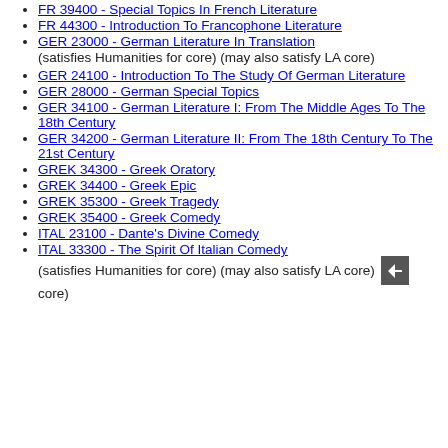FR 39400 - Special Topics In French Literature
FR 44300 - Introduction To Francophone Literature
GER 23000 - German Literature In Translation (satisfies Humanities for core) (may also satisfy LA core)
GER 24100 - Introduction To The Study Of German Literature
GER 28000 - German Special Topics
GER 34100 - German Literature I: From The Middle Ages To The 18th Century
GER 34200 - German Literature II: From The 18th Century To The 21st Century
GREK 34300 - Greek Oratory
GREK 34400 - Greek Epic
GREK 35300 - Greek Tragedy
GREK 35400 - Greek Comedy
ITAL 23100 - Dante's Divine Comedy
ITAL 33300 - The Spirit Of Italian Comedy (satisfies Humanities for core) (may also satisfy LA core)